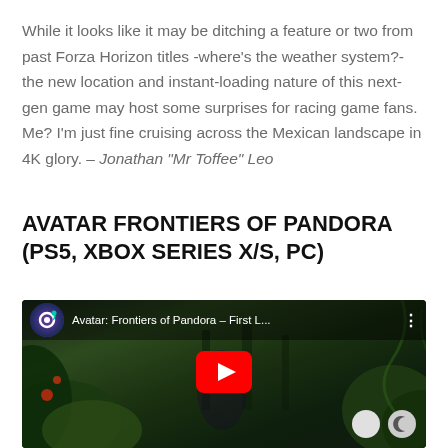While it looks like it may be ditching a feature or two from past Forza Horizon titles -where's the weather system?- the new location and instant-loading nature of this next-gen game may host some surprises for racing game fans. Me? I'm just fine cruising across the Mexican landscape in 4K glory. – Jonathan "Mr Toffee" Leo
AVATAR FRONTIERS OF PANDORA (PS5, XBOX SERIES X/S, PC)
[Figure (screenshot): YouTube embed thumbnail showing Avatar: Frontiers of Pandora – First Look video with Ubisoft channel logo, video title truncated, jungle/Pandora scene background, red YouTube play button, and dark/light mode toggle buttons in bottom right.]